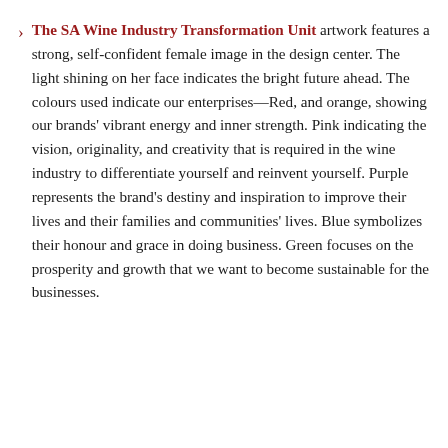The SA Wine Industry Transformation Unit artwork features a strong, self-confident female image in the design center. The light shining on her face indicates the bright future ahead. The colours used indicate our enterprises—Red, and orange, showing our brands' vibrant energy and inner strength. Pink indicating the vision, originality, and creativity that is required in the wine industry to differentiate yourself and reinvent yourself. Purple represents the brand's destiny and inspiration to improve their lives and their families and communities' lives. Blue symbolizes their honour and grace in doing business. Green focuses on the prosperity and growth that we want to become sustainable for the businesses.